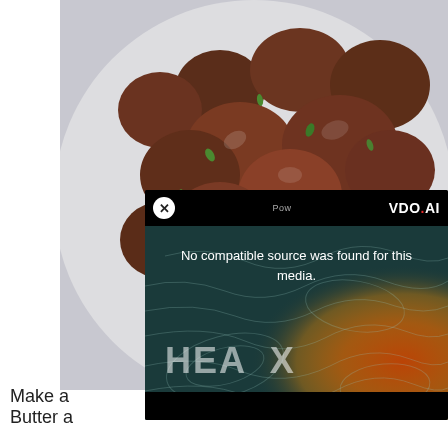[Figure (photo): Photograph of cooked red potatoes with green herbs on a white plate, partially obscured by a video player overlay]
[Figure (screenshot): Video player overlay with black top bar showing VDO.AI branding and close button, teal/dark map-like background with text 'No compatible source was found for this media.' and 'HEA X' branding text]
Make a
Butter a